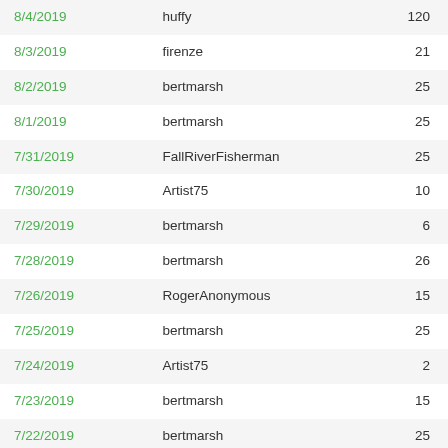| Date | User | Count |
| --- | --- | --- |
| 8/4/2019 | huffy | 120 |
| 8/3/2019 | firenze | 21 |
| 8/2/2019 | bertmarsh | 25 |
| 8/1/2019 | bertmarsh | 25 |
| 7/31/2019 | FallRiverFisherman | 25 |
| 7/30/2019 | Artist75 | 10 |
| 7/29/2019 | bertmarsh | 6 |
| 7/28/2019 | bertmarsh | 26 |
| 7/26/2019 | RogerAnonymous | 15 |
| 7/25/2019 | bertmarsh | 25 |
| 7/24/2019 | Artist75 | 2 |
| 7/23/2019 | bertmarsh | 15 |
| 7/22/2019 | bertmarsh | 25 |